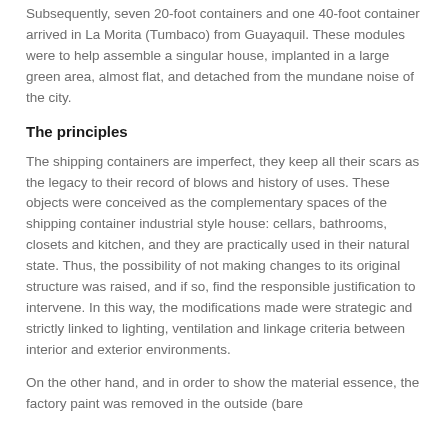Subsequently, seven 20-foot containers and one 40-foot container arrived in La Morita (Tumbaco) from Guayaquil. These modules were to help assemble a singular house, implanted in a large green area, almost flat, and detached from the mundane noise of the city.
The principles
The shipping containers are imperfect, they keep all their scars as the legacy to their record of blows and history of uses. These objects were conceived as the complementary spaces of the shipping container industrial style house: cellars, bathrooms, closets and kitchen, and they are practically used in their natural state. Thus, the possibility of not making changes to its original structure was raised, and if so, find the responsible justification to intervene. In this way, the modifications made were strategic and strictly linked to lighting, ventilation and linkage criteria between interior and exterior environments.
On the other hand, and in order to show the material essence, the factory paint was removed in the outside (bare